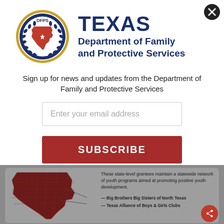[Figure (logo): DFPS circular seal logo with Texas state outline and laurel wreath border]
TEXAS Department of Family and Protective Services
Sign up for news and updates from the Department of Family and Protective Services
Enter your email address
SUBSCRIBE
No Thanks   Remind Me Later
[Figure (map): Partial map of Texas shown in dark maroon/red with county lines, with labels pointing to Big Brothers Big Sisters of North Texas and Texas Alliance of Boys & Girls Clubs]
These state-level grantees maintain a statewide network of youth programs aimed at promoting positive youth development.
Big Brothers Big Sisters of North Texas
Texas Alliance of Boys & Girls Clubs